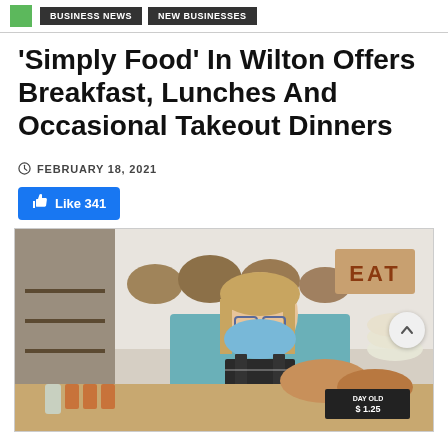BUSINESS NEWS | NEW BUSINESSES
'Simply Food' In Wilton Offers Breakfast, Lunches And Occasional Takeout Dinners
FEBRUARY 18, 2021
Like 341
[Figure (photo): Woman wearing a blue surgical mask and black apron standing behind a deli counter with bread, baskets of food, a sign reading 'EAT', and a chalkboard sign reading 'DAY OLD $1.25']